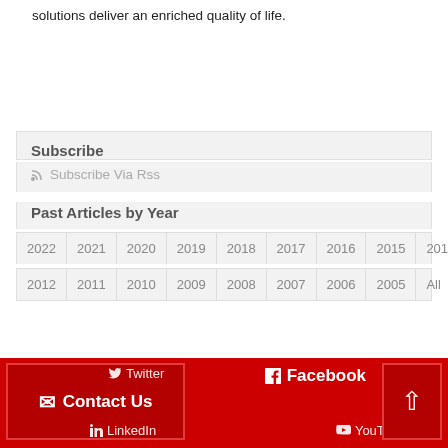solutions deliver an enriched quality of life.
Subscribe
Subscribe Via Rss
Past Articles by Year
2022 | 2021 | 2020 | 2019 | 2018 | 2017 | 2016 | 2015 | 2014 | 2013
2012 | 2011 | 2010 | 2009 | 2008 | 2007 | 2006 | 2005 | All
Twitter | Contact Us | Facebook | LinkedIn | YouTube